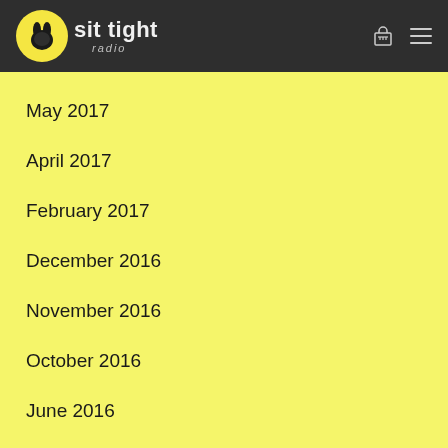sit tight radio
May 2017
April 2017
February 2017
December 2016
November 2016
October 2016
June 2016
May 2016